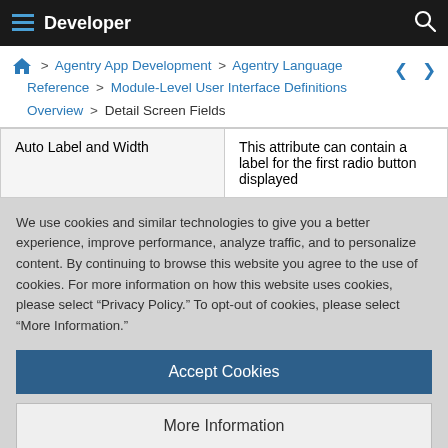Developer
Home > Agentry App Development > Agentry Language Reference > Module-Level User Interface Definitions Overview > Detail Screen Fields
| Auto Label and Width | This attribute can contain a label for the first radio button displayed |
We use cookies and similar technologies to give you a better experience, improve performance, analyze traffic, and to personalize content. By continuing to browse this website you agree to the use of cookies. For more information on how this website uses cookies, please select “Privacy Policy.” To opt-out of cookies, please select “More Information.”
Accept Cookies
More Information
Privacy Policy | Powered by: TrustArc
|  | them to enter a value. |